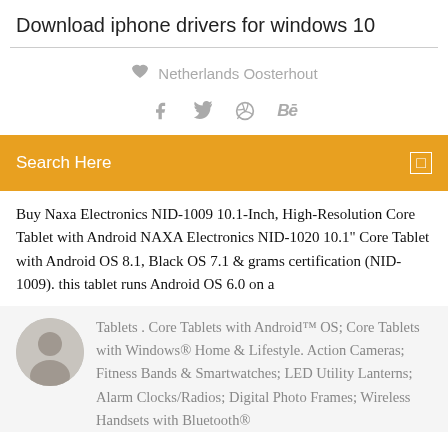Download iphone drivers for windows 10
Netherlands Oosterhout
Search Here
Buy Naxa Electronics NID-1009 10.1-Inch, High-Resolution Core Tablet with Android NAXA Electronics NID-1020 10.1" Core Tablet with Android OS 8.1, Black OS 7.1 & grams certification (NID-1009). this tablet runs Android OS 6.0 on a
Tablets . Core Tablets with Android™ OS; Core Tablets with Windows® Home & Lifestyle. Action Cameras; Fitness Bands & Smartwatches; LED Utility Lanterns; Alarm Clocks/Radios; Digital Photo Frames; Wireless Handsets with Bluetooth®